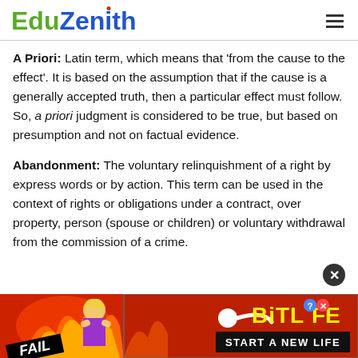EduZenith
A Priori: Latin term, which means that ‘from the cause to the effect’. It is based on the assumption that if the cause is a generally accepted truth, then a particular effect must follow. So, a priori judgment is considered to be true, but based on presumption and not on factual evidence.
Abandonment: The voluntary relinquishment of a right by express words or by action. This term can be used in the context of rights or obligations under a contract, over property, person (spouse or children) or voluntary withdrawal from the commission of a crime.
[Figure (advertisement): BitLife mobile game advertisement with FAIL text, animated character, flames, sperm graphic, BitLife logo in yellow, and 'START A NEW LIFE' tagline on dark background, red/fire themed background]